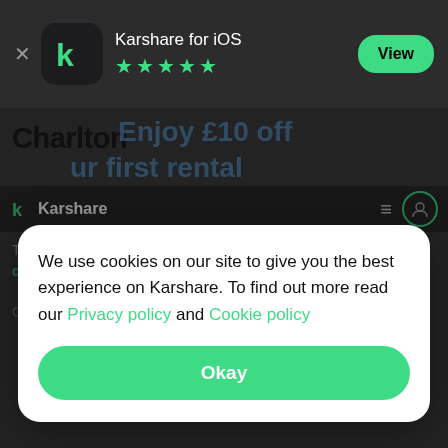[Figure (screenshot): App Store smart banner showing Karshare for iOS app with 5-star rating and green View button on dark background]
[Figure (screenshot): Karshare website background showing partial text 'Charlton', 'Enjoy £10 off', 'your first rental', Karshare navigation bar, and partial body text about car rental locations with green link text 'find cars to rent near you']
We use cookies on our site to give you the best experience on Karshare. To find out more read our Privacy policy and Cookie policy
Okay